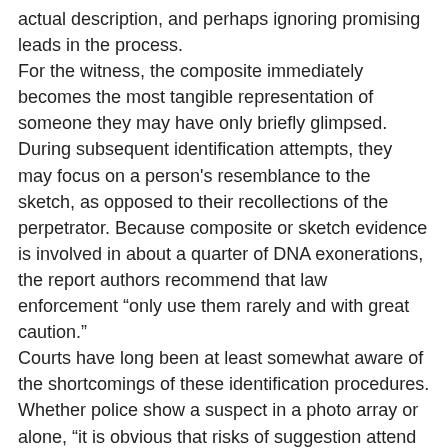actual description, and perhaps ignoring promising leads in the process. For the witness, the composite immediately becomes the most tangible representation of someone they may have only briefly glimpsed. During subsequent identification attempts, they may focus on a person's resemblance to the sketch, as opposed to their recollections of the perpetrator. Because composite or sketch evidence is involved in about a quarter of DNA exonerations, the report authors recommend that law enforcement “only use them rarely and with great caution.” Courts have long been at least somewhat aware of the shortcomings of these identification procedures. Whether police show a suspect in a photo array or alone, “it is obvious that risks of suggestion attend either form of confrontation,” Supreme Court Justice William Brennan wrote in United States v. Wade. And as Brennan noted in a different case, Watkins v. Sowders, it is difficult for jurors—impassive observers with no firsthand knowledge of what took place—to be skeptical of an earnest witness who saw a crime with their own eyes and swears to tell the truth in court. Quoting renowned psychology professor and memory expert Elizabeth Loftus,